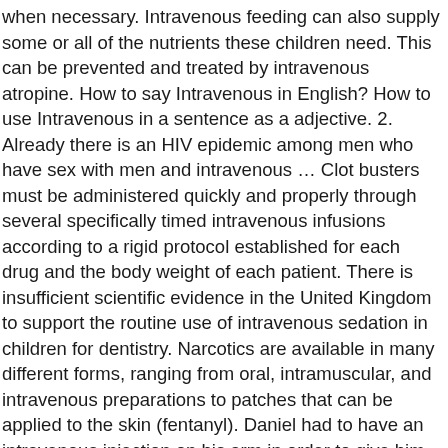when necessary. Intravenous feeding can also supply some or all of the nutrients these children need. This can be prevented and treated by intravenous atropine. How to say Intravenous in English? How to use Intravenous in a sentence as a adjective. 2. Already there is an HIV epidemic among men who have sex with men and intravenous … Clot busters must be administered quickly and properly through several specifically timed intravenous infusions according to a rigid protocol established for each drug and the body weight of each patient. There is insufficient scientific evidence in the United Kingdom to support the routine use of intravenous sedation in children for dentistry. Narcotics are available in many different forms, ranging from oral, intramuscular, and intravenous preparations to patches that can be applied to the skin (fentanyl). Daniel had to have an intravenous injection on his arm in order to give him the medicine he needed. Intravenous definition, within a vein. , On Mondays and Thursdays, Taylor allows a line to be placed in his arm so he can receive intravenous cancer drugs. An intravenous line (IV tubing into the veins) is established to